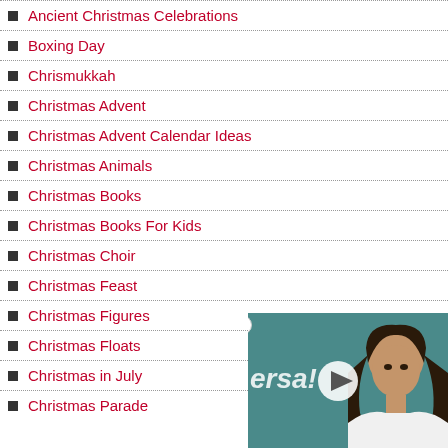Ancient Christmas Celebrations
Boxing Day
Chrismukkah
Christmas Advent
Christmas Advent Calendar Ideas
Christmas Animals
Christmas Books
Christmas Books For Kids
Christmas Choir
Christmas Feast
Christmas Figures
Christmas Floats
Christmas in July
Christmas Parade
[Figure (photo): Video thumbnail overlay showing a woman with dark hair in front of a teal/green background with partial text 'ersa'. A play button is displayed in the center. A close (X) button appears at top-left of the overlay.]